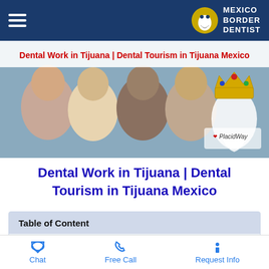Mexico Border Dentist
[Figure (photo): Banner showing four smiling women with a decorative gold crown and large white tooth, with PlacidWay logo. Text overlay reads: Dental Work in Tijuana | Dental Tourism in Tijuana Mexico]
Dental Work in Tijuana | Dental Tourism in Tijuana Mexico
| Table of Content |
| --- |
| Dental Work in Tijuana | Dental Tourism in Tijuana Mexico |
Chat   Free Call   Request Info